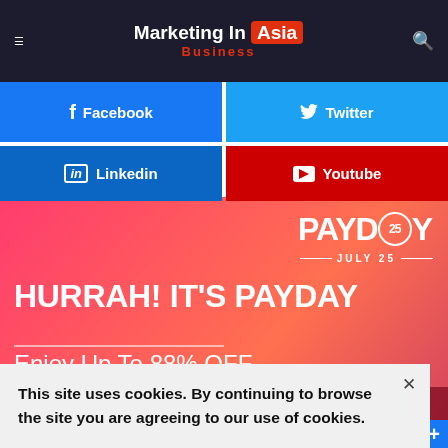Marketing In Asia — Business
[Figure (screenshot): Social media share buttons: Facebook, Twitter, Linkedin, Youtube]
[Figure (infographic): Payday promotional banner — PAYDAY 25 JULY 25, HURRAH! IT'S PAYDAY Enjoy Up To 88% OFF, RM15 OFF on Your First Purchase, SHOP NOW]
This site uses cookies. By continuing to browse the site you are agreeing to our use of cookies.